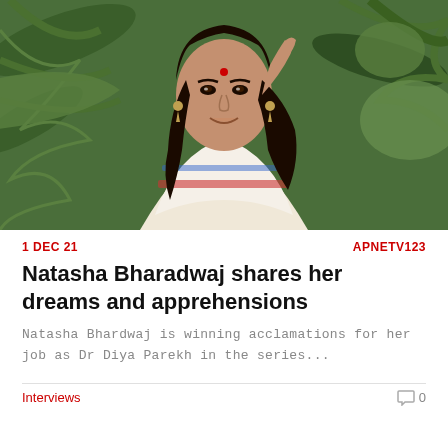[Figure (photo): Portrait photo of Natasha Bharadwaj, a young Indian woman with long dark hair, bindi, earrings, wearing a white floral/block-print traditional top, smiling, with green tropical foliage in background.]
1 DEC 21
APNETV123
Natasha Bharadwaj shares her dreams and apprehensions
Natasha Bhardwaj is winning acclamations for her job as Dr Diya Parekh in the series...
Interviews
0